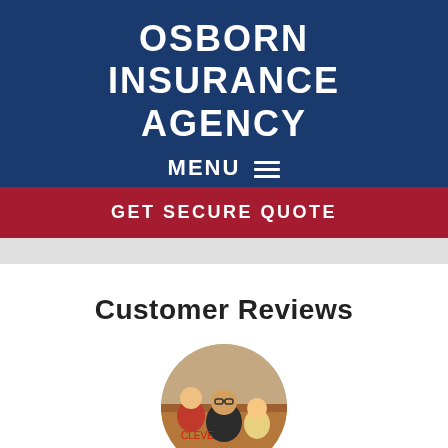OSBORN INSURANCE AGENCY
MENU ☰
GET SECURE QUOTE
Customer Reviews
[Figure (photo): Circular portrait photo of a woman with two children, appearing to be a family photo used as a customer review profile picture]